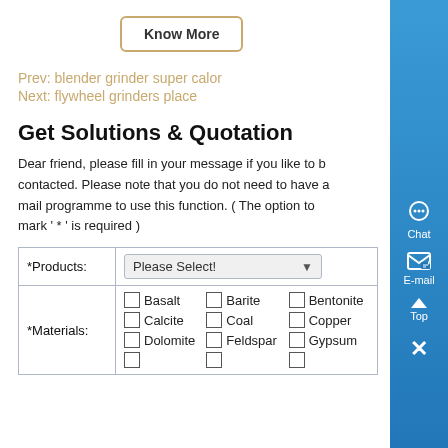Read more!!!
Know More
Prev: blender grinder super calor
Next: flywheel grinders place
Get Solutions & Quotation
Dear friend, please fill in your message if you like to be contacted. Please note that you do not need to have a mail programme to use this function. ( The option to mark ' * ' is required )
| Field | Input |
| --- | --- |
| *Products: | Please Select! |
| *Materials: | Basalt, Barite, Bentonite, Calcite, Coal, Copper, Dolomite, Feldspar, Gypsum |